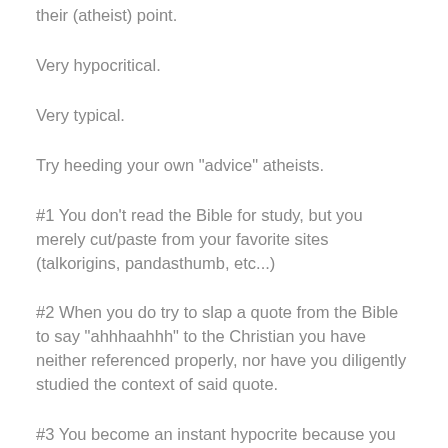their (atheist) point.
Very hypocritical.
Very typical.
Try heeding your own "advice" atheists.
#1 You don't read the Bible for study, but you merely cut/paste from your favorite sites (talkorigins, pandasthumb, etc...)
#2 When you do try to slap a quote from the Bible to say "ahhhaahhh" to the Christian you have neither referenced properly, nor have you diligently studied the context of said quote.
#3 You become an instant hypocrite because you vehemently accuse Christians here for quote mining yet you do the very same thing from the Bible. And then...
#4 You become extremely foolish, and cannot take any type of rebuke, and defend why you quote mined in the first